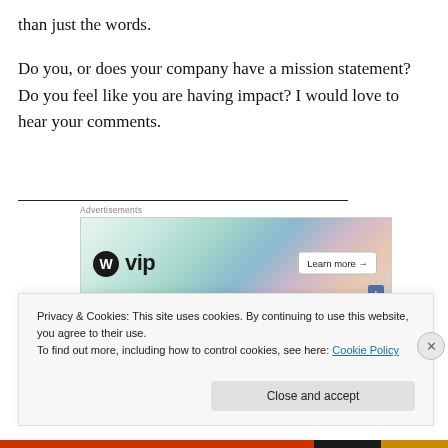than just the words.
Do you, or does your company have a mission statement? Do you feel like you are having impact? I would love to hear your comments.
[Figure (other): Advertisement banner showing WordPress VIP logo with colorful background cards (Slack, Facebook, etc.) and a 'Learn more →' button]
Also, don't forget that next Tuesday, May 13th, Ken
Privacy & Cookies: This site uses cookies. By continuing to use this website, you agree to their use.
To find out more, including how to control cookies, see here: Cookie Policy
Close and accept